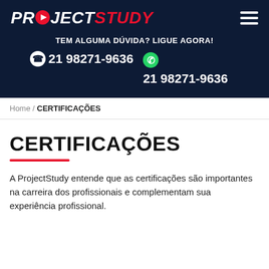[Figure (logo): ProjectStudy logo with play button icon, PROJECT in white italic bold and STUDY in red italic bold on dark navy background]
TEM ALGUMA DÚVIDA? LIGUE AGORA!
☎ 21 98271-9636   WhatsApp 21 98271-9636
Home / CERTIFICAÇÕES
CERTIFICAÇÕES
A ProjectStudy entende que as certificações são importantes na carreira dos profissionais e complementam sua experiência profissional.